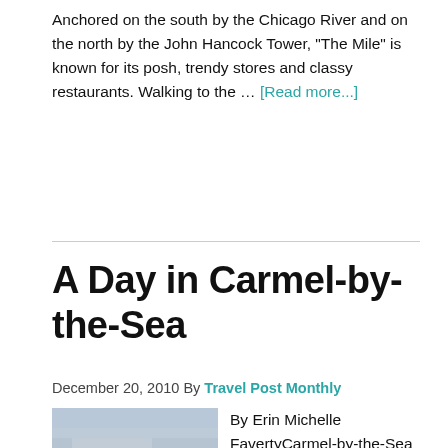Anchored on the south by the Chicago River and on the north by the John Hancock Tower, "The Mile" is known for its posh, trendy stores and classy restaurants. Walking to the … [Read more...]
A Day in Carmel-by-the-Sea
December 20, 2010 By Travel Post Monthly
[Figure (photo): Seascape photo showing rocky coastline with waves and overcast sky at Carmel-by-the-Sea]
By Erin Michelle FavertyCarmel-by-the-Sea has a special appeal in the early hours before the main shops open on Ocean Avenue at 10:00 am. On most